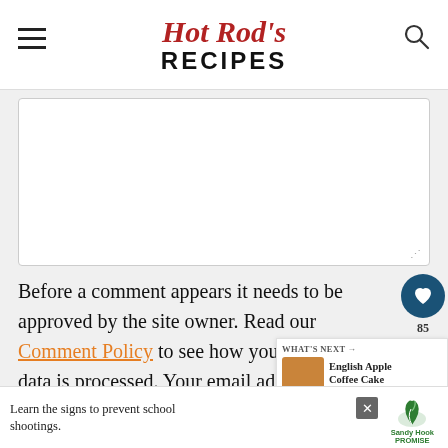Hot Rod's RECIPES
[Figure (screenshot): Comment text area input box, empty, with resize handle at bottom right]
Before a comment appears it needs to be approved by the site owner. Read our Comment Policy to see how your comment data is processed. Your email address will
[Figure (infographic): What's Next widget showing English Apple Coffee Cake]
[Figure (infographic): Sandy Hook Promise advertisement bar at bottom of page]